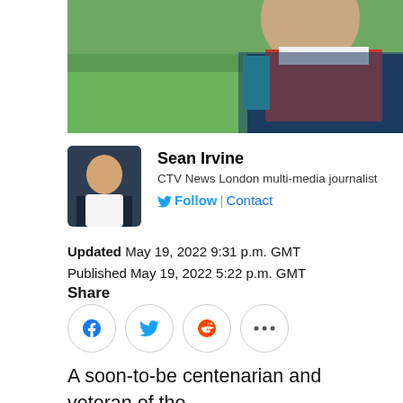[Figure (photo): Top portion of a photo showing two people outdoors on grass, one wearing a red shirt and blue jacket]
Sean Irvine
CTV News London multi-media journalist
🐦 Follow | Contact
Updated May 19, 2022 9:31 p.m. GMT
Published May 19, 2022 5:22 p.m. GMT
Share
[Figure (infographic): Social share buttons: Facebook, Twitter, Reddit, and more options (ellipsis)]
A soon-to-be centenarian and veteran of the Second World War is about to walk 100 kilometres to raise funds for homeless veterans.
Tom Hennessy of London, Ont. served in the